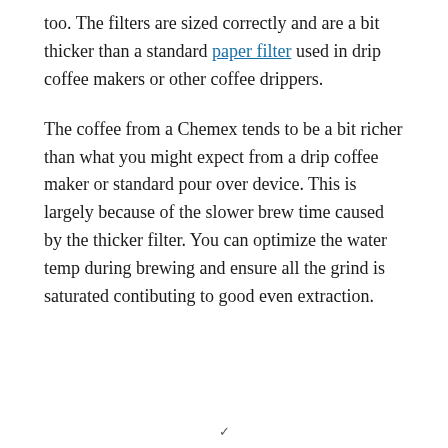too. The filters are sized correctly and are a bit thicker than a standard paper filter used in drip coffee makers or other coffee drippers.
The coffee from a Chemex tends to be a bit richer than what you might expect from a drip coffee maker or standard pour over device. This is largely because of the slower brew time caused by the thicker filter. You can optimize the water temp during brewing and ensure all the grind is saturated contibuting to good even extraction.